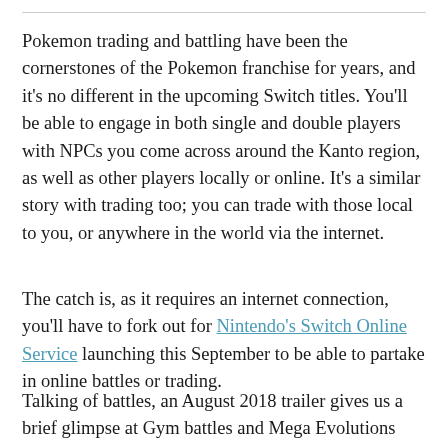Pokemon trading and battling have been the cornerstones of the Pokemon franchise for years, and it's no different in the upcoming Switch titles. You'll be able to engage in both single and double players with NPCs you come across around the Kanto region, as well as other players locally or online. It's a similar story with trading too; you can trade with those local to you, or anywhere in the world via the internet.
The catch is, as it requires an internet connection, you'll have to fork out for Nintendo's Switch Online Service launching this September to be able to partake in online battles or trading.
Talking of battles, an August 2018 trailer gives us a brief glimpse at Gym battles and Mega Evolutions